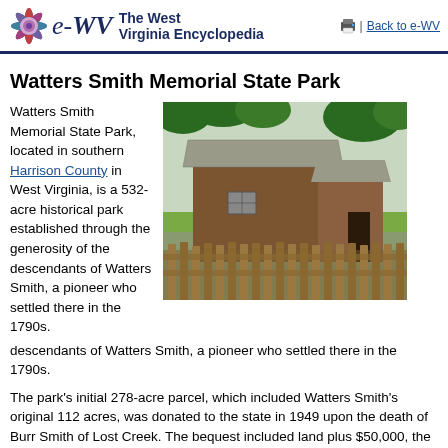e-WV The West Virginia Encyclopedia | Back to e-WV
Watters Smith Memorial State Park
Watters Smith Memorial State Park, located in southern Harrison County in West Virginia, is a 532-acre historical park established through the generosity of the descendants of Watters Smith, a pioneer who settled there in the 1790s.
[Figure (photo): A historic wooden cabin or outbuilding with a wooden fence in the foreground, surrounded by green grass and trees at Watters Smith Memorial State Park.]
The park's initial 278-acre parcel, which included Watters Smith's original 112 acres, was donated to the state in 1949 upon the death of Burr Smith of Lost Creek. The bequest included land plus $50,000, the interest to be used for the park's upkeep and maintenance. The West